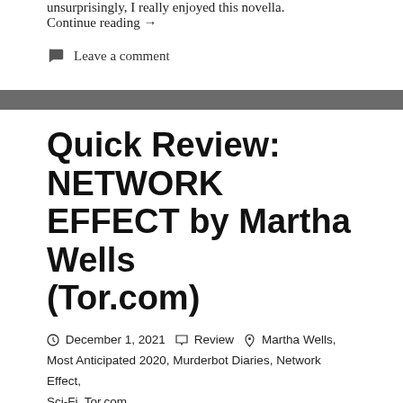unsurprisingly, I really enjoyed this novella. Continue reading →
💬 Leave a comment
Quick Review: NETWORK EFFECT by Martha Wells (Tor.com)
December 1, 2021  Review  Martha Wells, Most Anticipated 2020, Murderbot Diaries, Network Effect, Sci-Fi, Tor.com
[Figure (photo): Book cover or related image for Network Effect by Martha Wells]